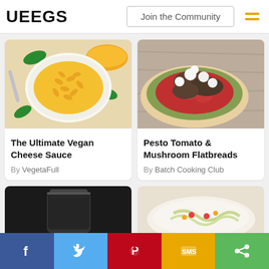VEEGS | Join the Community
[Figure (photo): Top-down photo of mac and cheese in a white bowl with basil leaves and orange sauce]
The Ultimate Vegan Cheese Sauce
By VegetaFull
[Figure (photo): Close-up photo of pesto tomato and mushroom flatbreads with white cheese dollops]
Pesto Tomato & Mushroom Flatbreads
By Batch Cooking Club
[Figure (photo): Dark photo of a glass jar with black background]
[Figure (photo): Photo of pasta salad with vegetables in a white bowl]